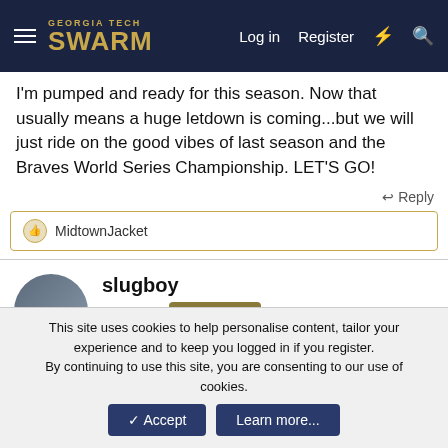Georgia Tech SWARM — Log in  Register
I'm pumped and ready for this season. Now that usually means a huge letdown is coming...but we will just ride on the good vibes of last season and the Braves World Series Championship. LET'S GO!
↩ Reply
MidtownJacket
slugboy
Moderator  Staff member
Nov 9, 2021  #27
This site uses cookies to help personalise content, tailor your experience and to keep you logged in if you register.
By continuing to use this site, you are consenting to our use of cookies.
✓ Accept   Learn more...